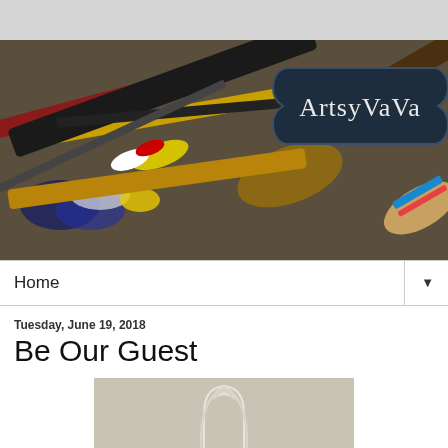[Figure (photo): Blog header banner showing paint brushes with colorful paint on them, with a dark navy badge reading 'ArtsyVaVa' in the top right.]
Home ▼
Tuesday, June 19, 2018
Be Our Guest
[Figure (photo): A white ornate chair back or frame photographed against a light gray/beige background.]